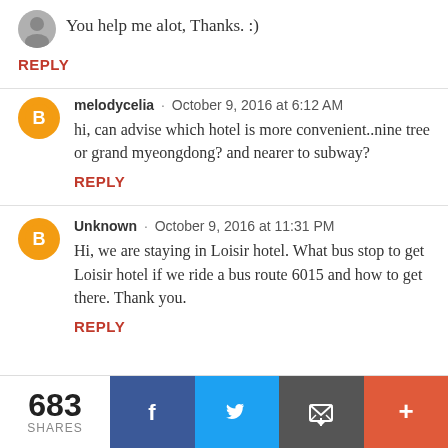You help me alot, Thanks. :)
REPLY
melodycelia · October 9, 2016 at 6:12 AM
hi, can advise which hotel is more convenient..nine tree or grand myeongdong? and nearer to subway?
REPLY
Unknown · October 9, 2016 at 11:31 PM
Hi, we are staying in Loisir hotel. What bus stop to get Loisir hotel if we ride a bus route 6015 and how to get there. Thank you.
REPLY
683 SHARES